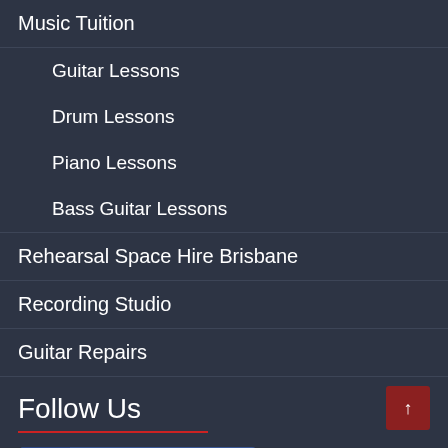Music Tuition
Guitar Lessons
Drum Lessons
Piano Lessons
Bass Guitar Lessons
Rehearsal Space Hire Brisbane
Recording Studio
Guitar Repairs
Follow Us
[Figure (other): Facebook social media button with icon and label]
[Figure (other): YouTube social media button with play icon and label]